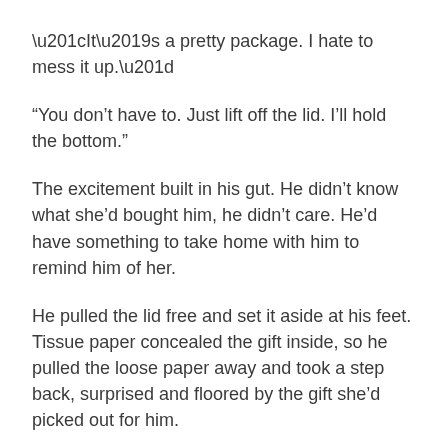“It’s a pretty package. I hate to mess it up.”
“You don’t have to. Just lift off the lid. I’ll hold the bottom.”
The excitement built in his gut. He didn’t know what she’d bought him, he didn’t care. He’d have something to take home with him to remind him of her.
He pulled the lid free and set it aside at his feet. Tissue paper concealed the gift inside, so he pulled the loose paper away and took a step back, surprised and floored by the gift she’d picked out for him.